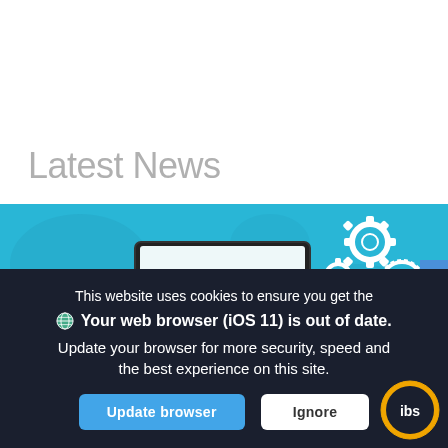Latest News
[Figure (illustration): Illustration of a person in a yellow sweater working at a computer with a large monitor showing a graph and a plant, with gear icons and a settings/smiley icon floating around, on a teal/blue background]
Feedback
This website uses cookies to ensure you get the
🌐 Your web browser (iOS 11) is out of date. Update your browser for more security, speed and the best experience on this site.
Update browser
Ignore
[Figure (logo): IBS logo: white 'ibs' text on dark background inside a circle with orange/gold outer ring]